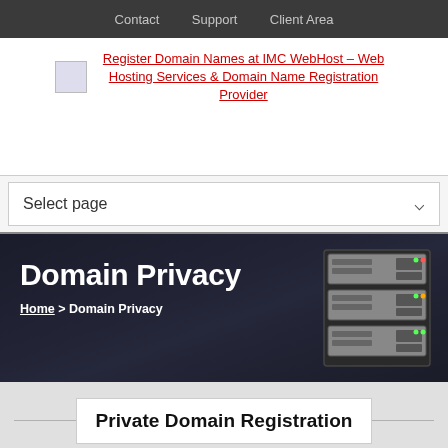Contact   Support   Client Area
[Figure (logo): IMC WebHost logo image with link: Register Domain Names at IMC WebHost – Web Hosting Services & Domain Name Registration Provider]
Select page
Domain Privacy
Home > Domain Privacy
[Figure (photo): Server rack hardware image in hero banner]
Private Domain Registration
IMC WebHost takes your privacy seriously. We recommend you protect your personal information with Private Domain Registration. When you register your domain name, your personal information is published in the